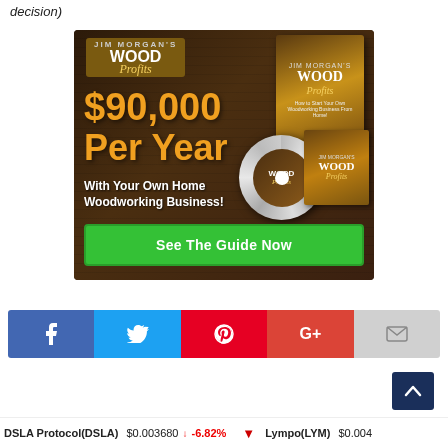decision)
[Figure (illustration): Wood Profits advertisement banner showing '$90,000 Per Year With Your Own Home Woodworking Business!' with book and CD product images and a green 'See The Guide Now' call-to-action button]
[Figure (infographic): Social sharing bar with Facebook, Twitter, Pinterest, Google+, and Email buttons]
[Figure (other): Scroll-to-top button (dark blue arrow pointing up)]
DSLA Protocol(DSLA) $0.003680 ↓ -6.82%  Lympo(LYM) $0.004